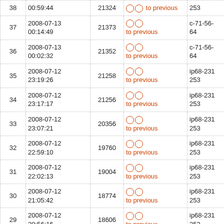| # | Date/Time | ID | Action | Host |
| --- | --- | --- | --- | --- |
| 38 | 2008-07-13 00:59:44 | 21324 | ○ ○ to previous | 253 |
| 37 | 2008-07-13 00:14:49 | 21373 | ○ ○ to previous | c-71-56-64 |
| 36 | 2008-07-13 00:02:32 | 21352 | ○ ○ to previous | c-71-56-64 |
| 35 | 2008-07-12 23:19:26 | 21258 | ○ ○ to previous | ip68-231 253 |
| 34 | 2008-07-12 23:17:17 | 21256 | ○ ○ to previous | ip68-231 253 |
| 33 | 2008-07-12 23:07:21 | 20356 | ○ ○ to previous | ip68-231 253 |
| 32 | 2008-07-12 22:59:10 | 19760 | ○ ○ to previous | ip68-231 253 |
| 31 | 2008-07-12 22:02:13 | 19004 | ○ ○ to previous | ip68-231 253 |
| 30 | 2008-07-12 21:05:42 | 18774 | ○ ○ to previous | ip68-231 253 |
| 29 | 2008-07-12 20:56:16 | 18606 | ○ ○ to previous | ip68-231 253 |
| 28 | 2008-07-12 20:54:08 | 18609 | ○ ○ to previous | ip68-231 253 |